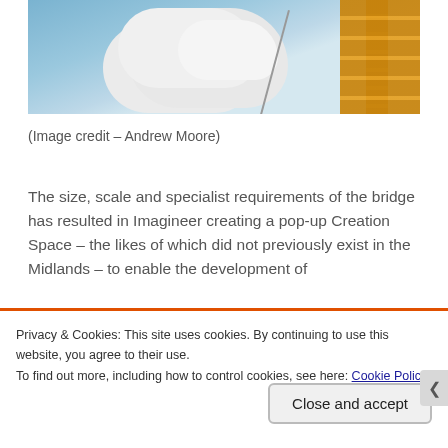[Figure (photo): Photograph looking up at a roller coaster structure against a blue sky with white clouds. The roller coaster track is visible on the right side with orange/brown supports.]
(Image credit – Andrew Moore)
The size, scale and specialist requirements of the bridge has resulted in Imagineer creating a pop-up Creation Space – the likes of which did not previously exist in the Midlands – to enable the development of
Privacy & Cookies: This site uses cookies. By continuing to use this website, you agree to their use.
To find out more, including how to control cookies, see here: Cookie Policy
Close and accept